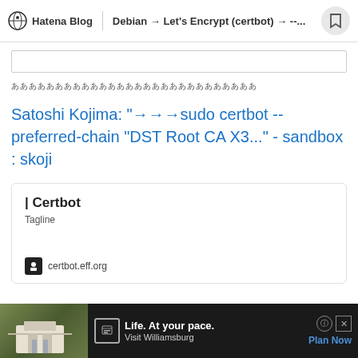Hatena Blog | Debian → Let's Encrypt (certbot) → --...
（Japanese characters placeholder text）
Satoshi Kojima: "→→→sudo certbot --preferred-chain "DST Root CA X3..." - sandbox : skoji
| Certbot
Tagline
certbot.eff.org
[Figure (screenshot): Advertisement banner at bottom: image of building/château, text 'Life. At your pace. Visit Williamsburg', with Plan Now link]